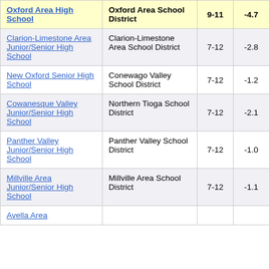| School | District | Grades | Score |  |
| --- | --- | --- | --- | --- |
| Oxford Area High School | Oxford Area School District | 9-11 | -4.7 |  |
| Clarion-Limestone Area Junior/Senior High School | Clarion-Limestone Area School District | 7-12 | -2.8 |  |
| New Oxford Senior High School | Conewago Valley School District | 7-12 | -1.2 |  |
| Cowanesque Valley Junior/Senior High School | Northern Tioga School District | 7-12 | -2.1 |  |
| Panther Valley Junior/Senior High School | Panther Valley School District | 7-12 | -1.0 |  |
| Millville Area Junior/Senior High School | Millville Area School District | 7-12 | -1.1 |  |
| Avella Area ... |  |  |  |  |